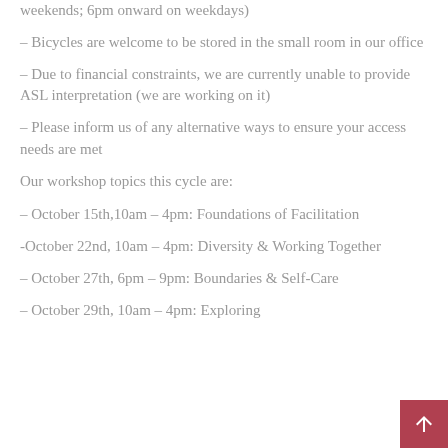– weekends; 6pm onward on weekdays)
– Bicycles are welcome to be stored in the small room in our office
– Due to financial constraints, we are currently unable to provide ASL interpretation (we are working on it)
– Please inform us of any alternative ways to ensure your access needs are met
Our workshop topics this cycle are:
– October 15th,10am – 4pm: Foundations of Facilitation
-October 22nd, 10am – 4pm: Diversity & Working Together
– October 27th, 6pm – 9pm: Boundaries & Self-Care
– October 29th, 10am – 4pm: Exploring